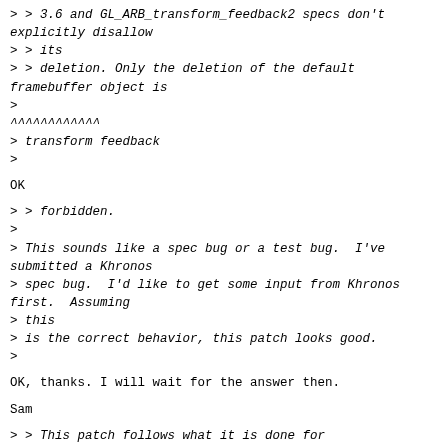> > 3.6 and GL_ARB_transform_feedback2 specs don't explicitly disallow
> > its
> > deletion. Only the deletion of the default framebuffer object is
>
^^^^^^^^^^^^
> transform feedback
>
OK
> > forbidden.
>
> This sounds like a spec bug or a test bug.  I've submitted a Khronos
> spec bug.  I'd like to get some input from Khronos first.  Assuming
> this
> is the correct behavior, this patch looks good.
>
OK, thanks. I will wait for the answer then.
Sam
> > This patch follows what it is done for glDeleteTextures(), i.e.
> > the binding reverts to 0 (the default framebuffer object).
> >